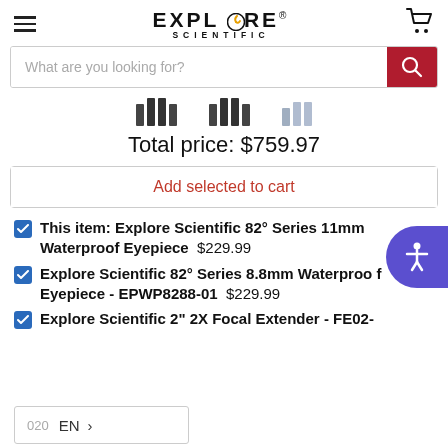Explore Scientific (logo, hamburger menu, cart)
What are you looking for?
[Figure (illustration): Three product thumbnail images shown as vertical bar groups representing telescope eyepieces]
Total price: $759.97
Add selected to cart
This item: Explore Scientific 82° Series 11mm Waterproof Eyepiece  $229.99
Explore Scientific 82° Series 8.8mm Waterproof Eyepiece - EPWP8288-01  $229.99
Explore Scientific 2" 2X Focal Extender - FE02-